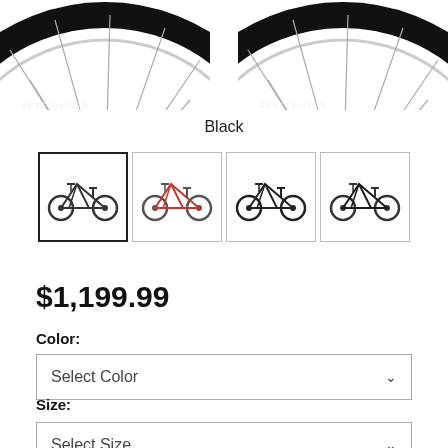[Figure (photo): Top portion of two bicycle wheels visible, cropped at the top of the page, left and right sides]
Black
[Figure (photo): Four thumbnail images of mountain bikes in different colors: white/black, red, dark/black, and dark with yellow accents. First thumbnail is selected with a bold border.]
$1,199.99
Color:
Select Color
Size:
Select Size